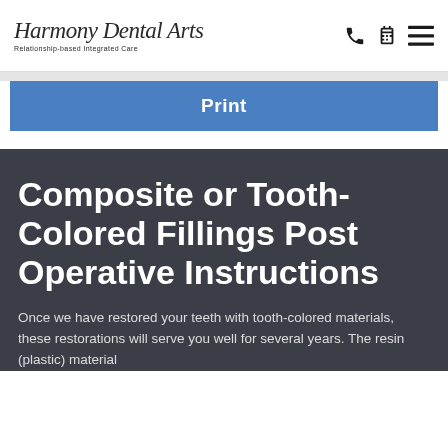[Figure (logo): Harmony Dental Arts logo with tagline 'Relationship-based Integrated Care' and navigation icons (phone, calendar, hamburger menu)]
Print
Composite or Tooth-Colored Fillings Post Operative Instructions
Once we have restored your teeth with tooth-colored materials, these restorations will serve you well for several years. The resin (plastic) material